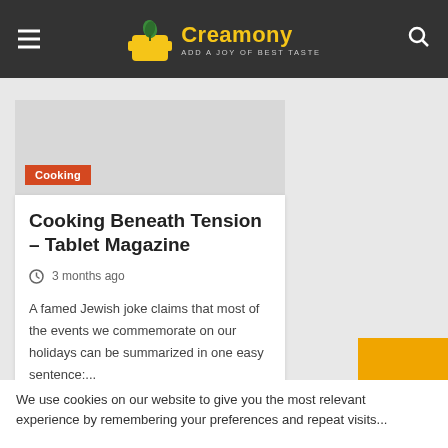Creamony — ADD A JOY OF BEST TASTE
[Figure (illustration): Article thumbnail image placeholder (gray rectangle)]
Cooking
Cooking Beneath Tension – Tablet Magazine
3 months ago
A famed Jewish joke claims that most of the events we commemorate on our holidays can be summarized in one easy sentence:...
We use cookies on our website to give you the most relevant experience by remembering your preferences and repeat visits...